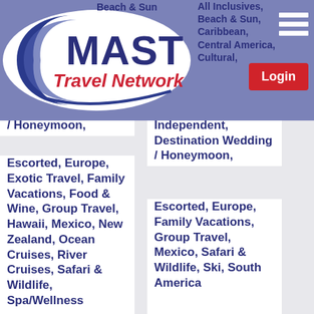[Figure (logo): MAST Travel Network logo - blue oval with white crescent swoosh, MAST in bold blue, Travel Network in red italic]
Beach & Sun, All Inclusives, Beach & Sun, Caribbean, Central America, Cultural, Custom / Independent, Destination Wedding / Honeymoon, Escorted, Europe, Exotic Travel, Family Vacations, Food & Wine, Group Travel, Hawaii, Mexico, New Zealand, Ocean Cruises, River Cruises, Safari & Wildlife, Spa/Wellness
All Inclusives, Beach & Sun, Caribbean, Central America, Cultural, Custom / Independent, Destination Wedding / Honeymoon, Escorted, Europe, Family Vacations, Group Travel, Mexico, Safari & Wildlife, Ski, South America